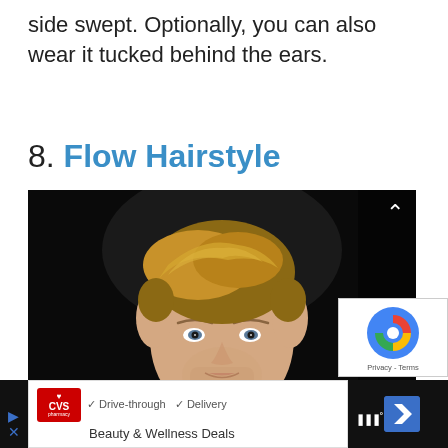side swept. Optionally, you can also wear it tucked behind the ears.
8. Flow Hairstyle
[Figure (photo): A man with a flow hairstyle, blonde swept-back hair, light stubble, wearing a light-colored suit jacket, photographed against a dark background. A reCAPTCHA widget overlay is visible in the bottom-right corner of the image.]
[Figure (other): Advertisement bar at the bottom: CVS Pharmacy logo with Drive-through and Delivery checkmarks, Beauty & Wellness Deals text, and a blue navigation arrow icon.]